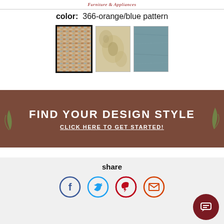Furniture & Appliances
color:  366-orange/blue pattern
[Figure (photo): Three fabric/rug color swatches: first selected (orange/blue pattern), second (beige/floral pattern), third (solid teal/blue)]
[Figure (infographic): Brown banner with text: FIND YOUR DESIGN STYLE and CLICK HERE TO GET STARTED!]
share
[Figure (infographic): Social sharing icons: Facebook, Twitter, Pinterest, Email in circles, plus a dark red chat bubble button]